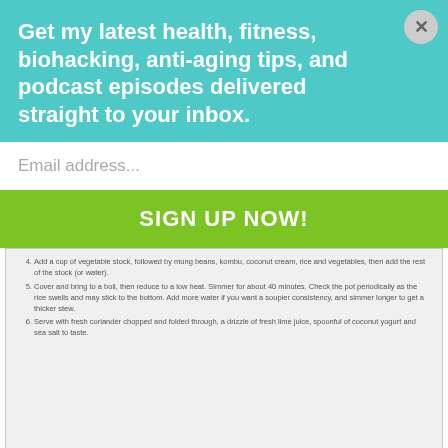Get my latest health, fitness, biohacking, anti-aging tips, and podcast episodes delivered straight to your inbox.
Email address...
SIGN UP NOW!
Add a cup of vegetable stock, followed by mung beans, kombu, coconut cream, rice and vegetables, then add the rest of the stock (or water).
Cover and bring to a boil, then reduce to a low heat. Simmer for about 40 minutes. Check the pot periodically as the rice swells and may stick to the bottom. Add more water if you want a soupier consistency, and simmer longer to get a thicker stew.
Serve with fresh coriander chopped and folded through, a drizzle of fresh lime juice, spoonful of coconut yogurt and sea salt to taste.
Dr. John Douillard's Kitchari cleanse guide
Women do better compared to men on endurance sports vs. shorter events